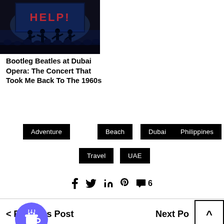[Figure (photo): Concert stage photo showing silhouettes of performers with 'HELP!' displayed on a screen behind them, dark concert venue lighting]
Bootleg Beatles at Dubai Opera: The Concert That Took Me Back To The 1960s
Adventure
Beach
Dubai
Philippines
Travel
UAE
f  in  6
Previous Post    Next Po